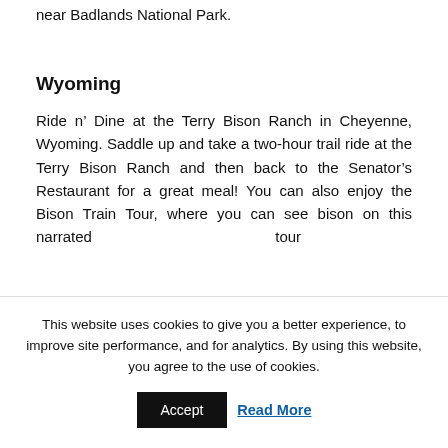near Badlands National Park.
Wyoming
Ride n’ Dine at the Terry Bison Ranch in Cheyenne, Wyoming. Saddle up and take a two-hour trail ride at the Terry Bison Ranch and then back to the Senator’s Restaurant for a great meal! You can also enjoy the Bison Train Tour, where you can see bison on this narrated tour
This website uses cookies to give you a better experience, to improve site performance, and for analytics. By using this website, you agree to the use of cookies.
Accept
Read More